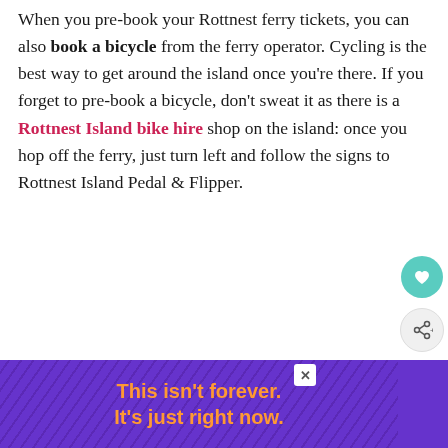When you pre-book your Rottnest ferry tickets, you can also book a bicycle from the ferry operator. Cycling is the best way to get around the island once you're there. If you forget to pre-book a bicycle, don't sweat it as there is a Rottnest Island bike hire shop on the island: once you hop off the ferry, just turn left and follow the signs to Rottnest Island Pedal & Flipper.
[Figure (screenshot): Advertisement banner with purple background and diagonal line pattern, orange bold text reading 'This isn't forever. It's just right now.' with a close button (X) in the top right corner.]